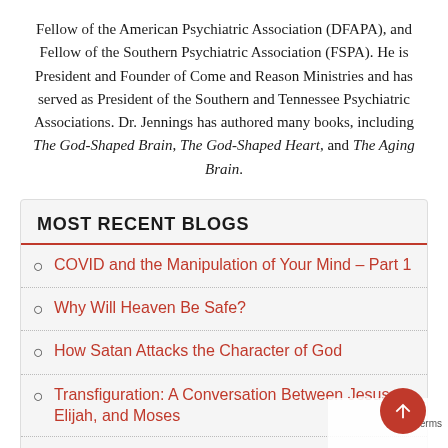Fellow of the American Psychiatric Association (DFAPA), and Fellow of the Southern Psychiatric Association (FSPA). He is President and Founder of Come and Reason Ministries and has served as President of the Southern and Tennessee Psychiatric Associations. Dr. Jennings has authored many books, including The God-Shaped Brain, The God-Shaped Heart, and The Aging Brain.
MOST RECENT BLOGS
COVID and the Manipulation of Your Mind – Part 1
Why Will Heaven Be Safe?
How Satan Attacks the Character of God
Transfiguration: A Conversation Between Jesus, Elijah, and Moses
Restoring the Image of God in Humanity
Do You Celebrate or Grieve When Your Enemies...
Privacy  Terms